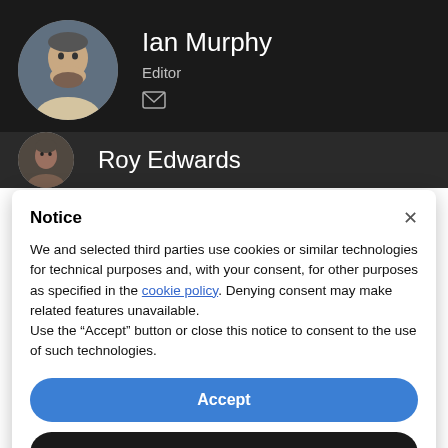[Figure (photo): Circular avatar photo of Ian Murphy, a bearded man, on dark background]
Ian Murphy
Editor
[Figure (illustration): Email/envelope icon]
[Figure (photo): Circular avatar photo of Roy Edwards, a bald man, on dark background]
Roy Edwards
Notice
We and selected third parties use cookies or similar technologies for technical purposes and, with your consent, for other purposes as specified in the cookie policy. Denying consent may make related features unavailable.
Use the "Accept" button or close this notice to consent to the use of such technologies.
Accept
Learn more and customise